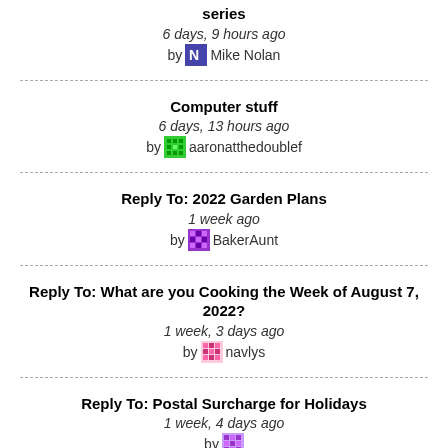series
6 days, 9 hours ago
by Mike Nolan
Computer stuff
6 days, 13 hours ago
by aaronatthedoublef
Reply To: 2022 Garden Plans
1 week ago
by BakerAunt
Reply To: What are you Cooking the Week of August 7, 2022?
1 week, 3 days ago
by navlys
Reply To: Postal Surcharge for Holidays
1 week, 4 days ago